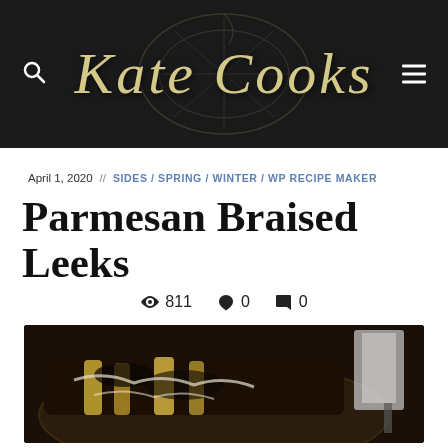Kate Cooks
April 1, 2020  //  SIDES / SPRING / WINTER / WP RECIPE MAKER
Parmesan Braised Leeks
811 views  0 likes  0 comments
[Figure (photo): A dark overhead photo of braised leeks in a pan with melted parmesan cheese, with a spatula/cleaver visible at the right.]